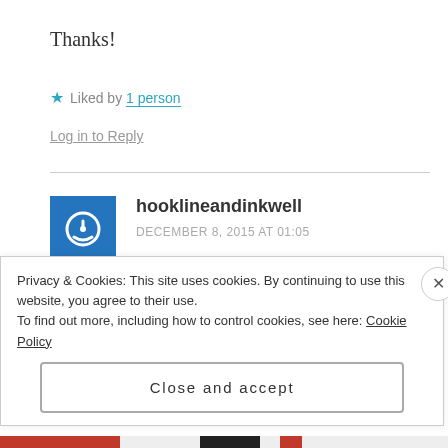Thanks!
★ Liked by 1 person
Log in to Reply
hooklineandinkwell
DECEMBER 8, 2015 AT 01:05
Privacy & Cookies: This site uses cookies. By continuing to use this website, you agree to their use.
To find out more, including how to control cookies, see here: Cookie Policy
Close and accept